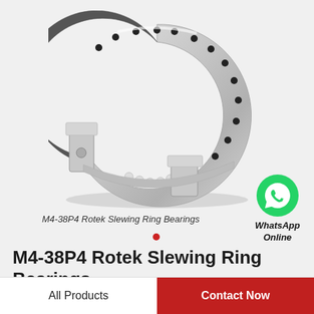[Figure (photo): Slewing ring bearing (M4-38P4 Rotek) shown as a large metallic C-shaped or horseshoe ring with bolt holes around the perimeter, ball bearings visible at the opening, rendered on a light gray background]
M4-38P4 Rotek Slewing Ring Bearings
[Figure (logo): WhatsApp green circle logo icon with phone handset symbol in white]
WhatsApp Online
M4-38P4 Rotek Slewing Ring Bearings
All Products   Contact Now